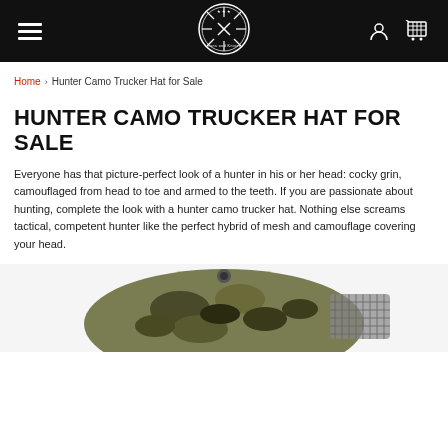Navigation bar with hamburger menu, site logo, user icon, and cart icon
Home › Hunter Camo Trucker Hat for Sale
HUNTER CAMO TRUCKER HAT FOR SALE
Everyone has that picture-perfect look of a hunter in his or her head: cocky grin, camouflaged from head to toe and armed to the teeth. If you are passionate about hunting, complete the look with a hunter camo trucker hat. Nothing else screams tactical, competent hunter like the perfect hybrid of mesh and camouflage covering your head.
[Figure (photo): Top view of a camouflage pattern trucker hat with mesh back panel]